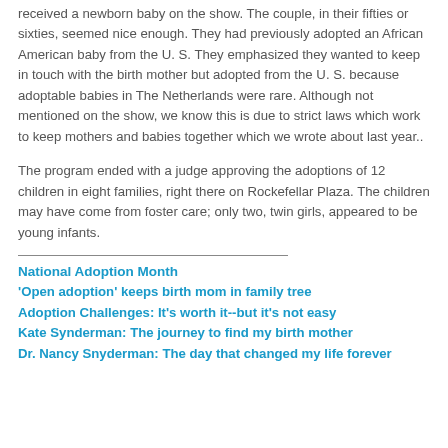received a newborn baby on the show. The couple, in their fifties or sixties, seemed nice enough. They had previously adopted an African American baby from the U. S. They emphasized they wanted to keep in touch with the birth mother but adopted from the U. S. because adoptable babies in The Netherlands were rare. Although not mentioned on the show, we know this is due to strict laws which work to keep mothers and babies together which we wrote about last year..
The program ended with a judge approving the adoptions of 12 children in eight families, right there on Rockefellar Plaza. The children may have come from foster care; only two, twin girls, appeared to be young infants.
National Adoption Month
'Open adoption' keeps birth mom in family tree
Adoption Challenges: It's worth it--but it's not easy
Kate Synderman: The journey to find my birth mother
Dr. Nancy Snyderman: The day that changed my life forever